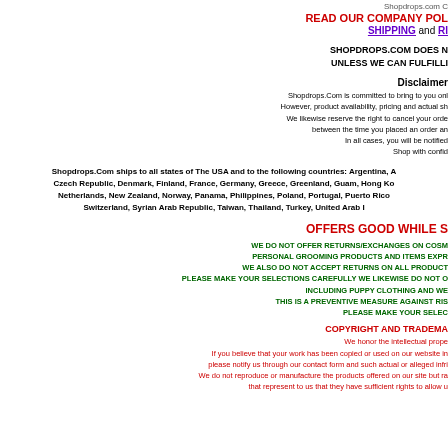Shopdrops.com C
READ OUR COMPANY POL
SHIPPING and RI
SHOPDROPS.COM DOES N
UNLESS WE CAN FULFILLI
Disclaimer
Shopdrops.Com is committed to bring to you onl
However, product availability, pricing and actual sh
We likewise reserve the right to cancel your orde
between the time you placed an order an
In all cases, you will be notified
Shop with confid
Shopdrops.Com ships to all states of The USA and to the following countries: Argentina, A Czech Republic, Denmark, Finland, France, Germany, Greece, Greenland, Guam, Hong Ko Netherlands, New Zealand, Norway, Panama, Philippines, Poland, Portugal, Puerto Rico Switzerland, Syrian Arab Republic, Taiwan, Thailand, Turkey, United Arab I
OFFERS GOOD WHILE S
WE DO NOT OFFER RETURNS/EXCHANGES ON COSM PERSONAL GROOMING PRODUCTS AND ITEMS EXPR WE ALSO DO NOT ACCEPT RETURNS ON ALL PRODUCT PLEASE MAKE YOUR SELECTIONS CAREFULLY WE LIKEWISE DO NOT O INCLUDING PUPPY CLOTHING AND WE THIS IS A PREVENTIVE MEASURE AGAINST RIS PLEASE MAKE YOUR SELEC
COPYRIGHT AND TRADEMA
We honor the intellectual prope If you believe that your work has been copied or used on our website in please notify us through our contact form and such actual or alleged infri We do not reproduce or manufacture the products offered on our site but ra that represent to us that they have sufficient rights to allow u